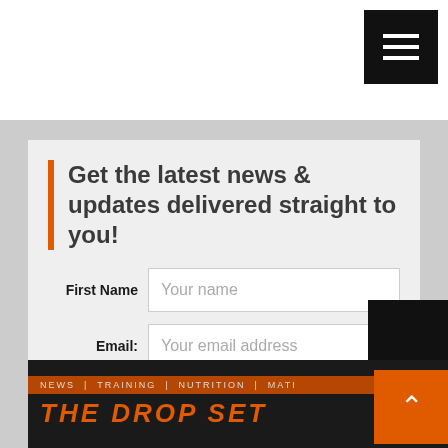[Figure (screenshot): Website header with hamburger menu button (three white horizontal lines on black square background) in top right corner]
Get the latest news & updates delivered straight to you!
First Name  Your name
Email:  Your email address
Hook me up!
Subscribe to The Drop Set
[Figure (screenshot): The Drop Set newsletter banner showing navigation bar with NEWS | TRAINING | NUTRITION | and title THE DROP SET in orange letters on dark background]